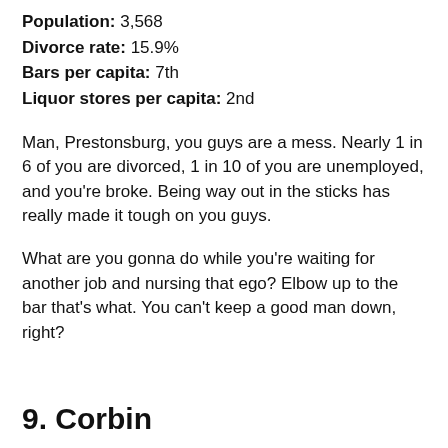Population: 3,568
Divorce rate: 15.9%
Bars per capita: 7th
Liquor stores per capita: 2nd
Man, Prestonsburg, you guys are a mess. Nearly 1 in 6 of you are divorced, 1 in 10 of you are unemployed, and you're broke. Being way out in the sticks has really made it tough on you guys.
What are you gonna do while you're waiting for another job and nursing that ego? Elbow up to the bar that's what. You can't keep a good man down, right?
9. Corbin